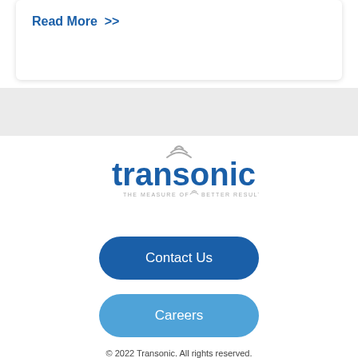Read More >>
[Figure (logo): Transonic logo with tagline THE MEASURE OF BETTER RESULTS.]
Contact Us
Careers
© 2022 Transonic. All rights reserved.
[Figure (other): Social media icons: Twitter, Facebook, YouTube, LinkedIn]